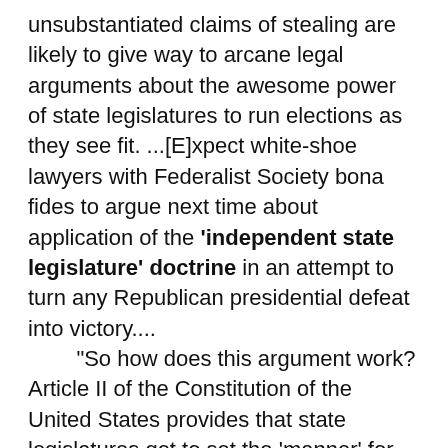unsubstantiated claims of stealing are likely to give way to arcane legal arguments about the awesome power of state legislatures to run elections as they see fit. ...[E]xpect white-shoe lawyers with Federalist Society bona fides to argue next time about application of the 'independent state legislature' doctrine in an attempt to turn any Republican presidential defeat into victory....
"So how does this argument work? Article II of the Constitution of the United States provides that state legislatures get to set the 'manner' for choosing presidential elections. Similarly, Article I, section 4 gives the state 'legislature' the power to set the time, place, and manner for conducting congressional elections, subject to congressional override. In practice, these clauses have been understood as allowing the legislature to set the ground rules for conducting the election, which are then subject to normal state processes: election administrators fix the